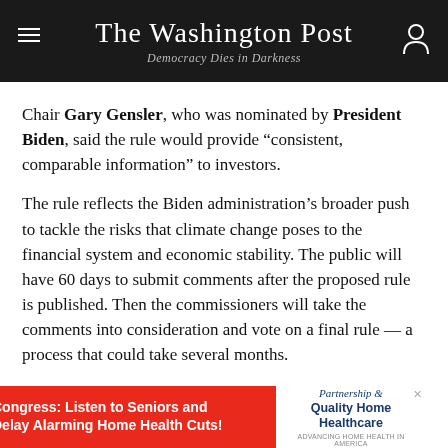The Washington Post
Democracy Dies in Darkness
Chair Gary Gensler, who was nominated by President Biden, said the rule would provide “consistent, comparable information” to investors.
The rule reflects the Biden administration’s broader push to tackle the risks that climate change poses to the financial system and economic stability. The public will have 60 days to submit comments after the proposed rule is published. Then the commissioners will take the comments into consideration and vote on a final rule — a process that could take several months.
While climate advocates praised the rule as significant
[Figure (infographic): Advertisement banner: Congress: Listen to Seniors and Delay Alarming Home Health Cuts! with Partnership for Quality Home Healthcare logo]